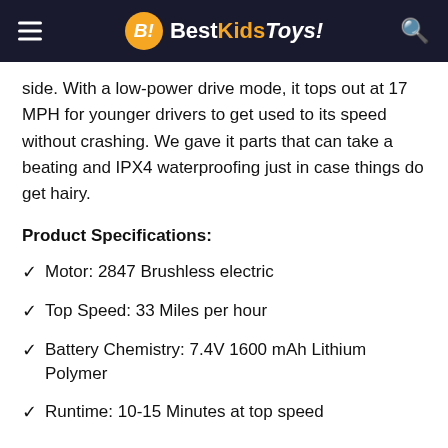BestKidsToys!
side. With a low-power drive mode, it tops out at 17 MPH for younger drivers to get used to its speed without crashing. We gave it parts that can take a beating and IPX4 waterproofing just in case things do get hairy.
Product Specifications:
Motor: 2847 Brushless electric
Top Speed: 33 Miles per hour
Battery Chemistry: 7.4V 1600 mAh Lithium Polymer
Runtime: 10-15 Minutes at top speed